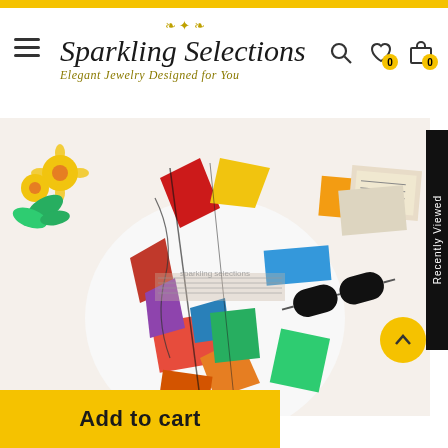[Figure (logo): Sparkling Selections logo with decorative script font and tagline 'Elegant Jewelry Designed for You']
[Figure (photo): Colorful abstract printed sundress laid flat with accessories - sunglasses, flowers, newspapers arranged around it on white background]
Recently Viewed
Add to cart